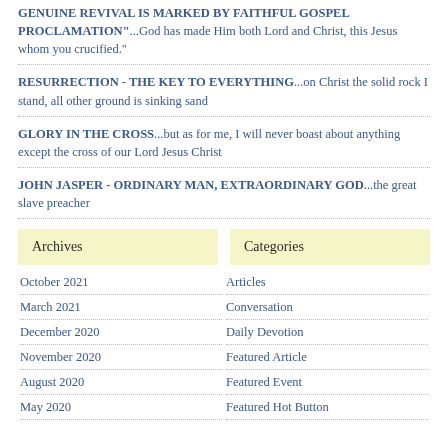GENUINE REVIVAL IS MARKED BY FAITHFUL GOSPEL PROCLAMATION"...God has made Him both Lord and Christ, this Jesus whom you crucified."
RESURRECTION - THE KEY TO EVERYTHING...on Christ the solid rock I stand, all other ground is sinking sand
GLORY IN THE CROSS...but as for me, I will never boast about anything except the cross of our Lord Jesus Christ
JOHN JASPER - ORDINARY MAN, EXTRAORDINARY GOD...the great slave preacher
Archives
Categories
October 2021
Articles
March 2021
Conversation
December 2020
Daily Devotion
November 2020
Featured Article
August 2020
Featured Event
May 2020
Featured Hot Button